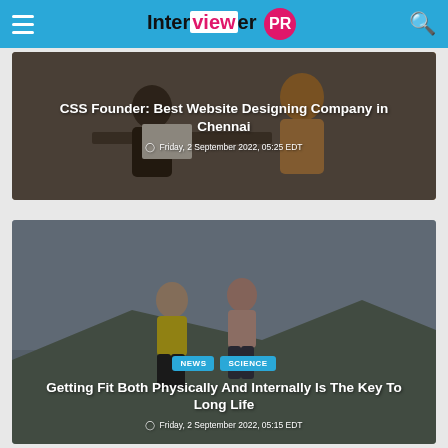Interviewer PR
[Figure (photo): Article card with photo of people working at a table, overlay text: CSS Founder: Best Website Designing Company in Chennai, Friday, 2 September 2022, 05:25 EDT]
[Figure (photo): Article card with photo of two people running outdoors, tags NEWS and SCIENCE, overlay text: Getting Fit Both Physically And Internally Is The Key To Long Life, Friday, 2 September 2022, 05:15 EDT]